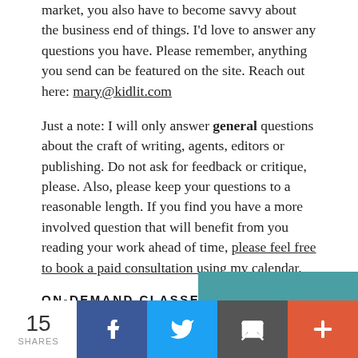market, you also have to become savvy about the business end of things. I'd love to answer any questions you have. Please remember, anything you send can be featured on the site. Reach out here: mary@kidlit.com
Just a note: I will only answer general questions about the craft of writing, agents, editors or publishing. Do not ask for feedback or critique, please. Also, please keep your questions to a reasonable length. If you find you have a more involved question that will benefit from you reading your work ahead of time, please feel free to book a paid consultation using my calendar.
ON-DEMAND CLASSES
[Figure (other): Share bar at bottom with count of 15 shares and buttons for Facebook, Twitter, Email, and More]